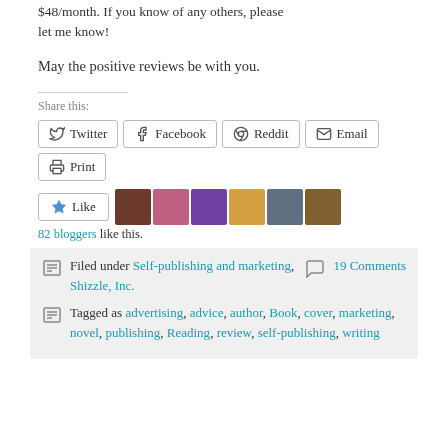$48/month. If you know of any others, please let me know!
May the positive reviews be with you.
Share this:
Twitter  Facebook  Reddit  Email  Print
Like  82 bloggers like this.
Filed under Self-publishing and marketing, Shizzle, Inc.  19 Comments
Tagged as advertising, advice, author, Book, cover, marketing, novel, publishing, Reading, review, self-publishing, writing